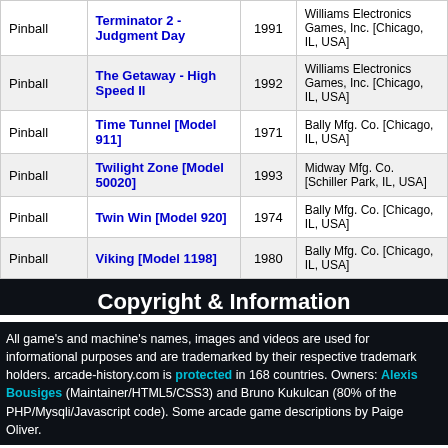| Type | Name | Year | Manufacturer |
| --- | --- | --- | --- |
| Pinball | Terminator 2 - Judgment Day | 1991 | Williams Electronics Games, Inc. [Chicago, IL, USA] |
| Pinball | The Getaway - High Speed II | 1992 | Williams Electronics Games, Inc. [Chicago, IL, USA] |
| Pinball | Time Tunnel [Model 911] | 1971 | Bally Mfg. Co. [Chicago, IL, USA] |
| Pinball | Twilight Zone [Model 50020] | 1993 | Midway Mfg. Co. [Schiller Park, IL, USA] |
| Pinball | Twin Win [Model 920] | 1974 | Bally Mfg. Co. [Chicago, IL, USA] |
| Pinball | Viking [Model 1198] | 1980 | Bally Mfg. Co. [Chicago, IL, USA] |
Copyright & Information
All game's and machine's names, images and videos are used for informational purposes and are trademarked by their respective trademark holders. arcade-history.com is protected in 168 countries. Owners: Alexis Bousiges (Maintainer/HTML5/CSS3) and Bruno Kukulcan (80% of the PHP/Mysqli/Javascript code). Some arcade game descriptions by Paige Oliver.